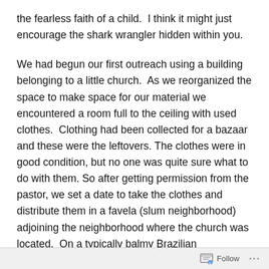the fearless faith of a child.  I think it might just encourage the shark wrangler hidden within you.
We had begun our first outreach using a building belonging to a little church.  As we reorganized the space to make space for our material we encountered a room full to the ceiling with used clothes.  Clothing had been collected for a bazaar and these were the leftovers. The clothes were in good condition, but no one was quite sure what to do with them. So after getting permission from the pastor, we set a date to take the clothes and distribute them in a favela (slum neighborhood) adjoining the neighborhood where the church was located.  On a typically balmy Brazilian
Follow ···